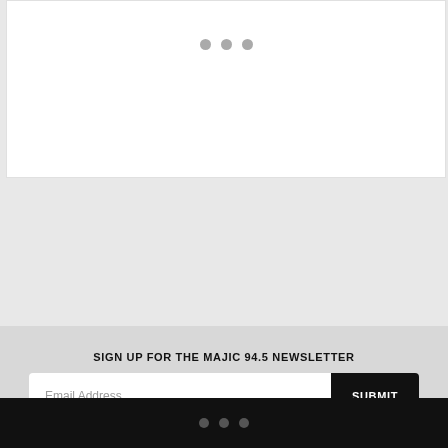[Figure (other): White content box with three gray loading dots centered near the top]
SIGN UP FOR THE MAJIC 94.5 NEWSLETTER
Email Address
SUBMIT
• • •